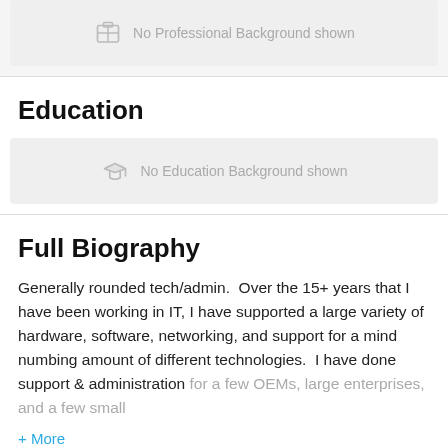No Professional Background shown
Education
No Education Background shown
Full Biography
Generally rounded tech/admin.  Over the 15+ years that I have been working in IT, I have supported a large variety of hardware, software, networking, and support for a mind numbing amount of different technologies.  I have done support & administration for a few OEMs, large enterprises, and a few small
+ More